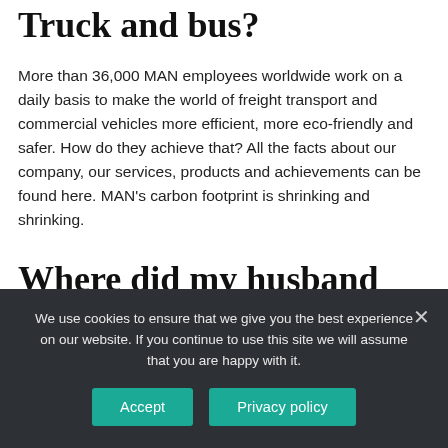Truck and bus?
More than 36,000 MAN employees worldwide work on a daily basis to make the world of freight transport and commercial vehicles more efficient, more eco-friendly and safer. How do they achieve that? All the facts about our company, our services, products and achievements can be found here. MAN's carbon footprint is shrinking and shrinking.
Where did my husband apply for a job?
We use cookies to ensure that we give you the best experience on our website. If you continue to use this site we will assume that you are happy with it.